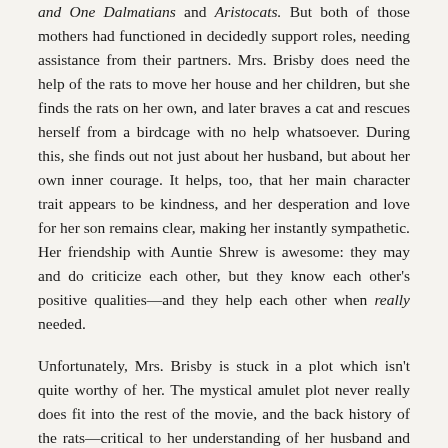and One Dalmatians and Aristocats. But both of those mothers had functioned in decidedly support roles, needing assistance from their partners. Mrs. Brisby does need the help of the rats to move her house and her children, but she finds the rats on her own, and later braves a cat and rescues herself from a birdcage with no help whatsoever. During this, she finds out not just about her husband, but about her own inner courage. It helps, too, that her main character trait appears to be kindness, and her desperation and love for her son remains clear, making her instantly sympathetic. Her friendship with Auntie Shrew is awesome: they may and do criticize each other, but they know each other's positive qualities—and they help each other when really needed.
Unfortunately, Mrs. Brisby is stuck in a plot which isn't quite worthy of her. The mystical amulet plot never really does fit into the rest of the movie, and the back history of the rats—critical to her understanding of her husband and her children—gets sorta shoved into a small infodump, with little time to explore what it means to her. And frequently, the rest of the plot feels as if it needed just a touch more tweaking. For example, in an early scene, an unsympathetic Auntie Shrew is telling Mrs. Brisby that the